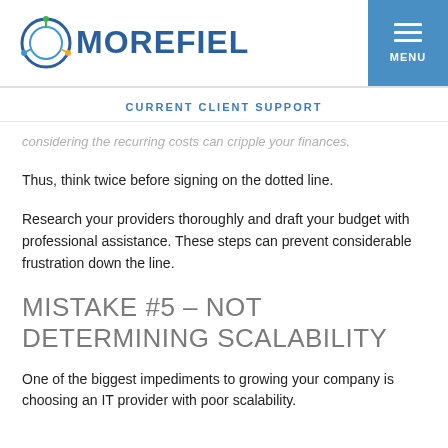MOREFIELD — MENU
CURRENT CLIENT SUPPORT
considering the recurring costs can cripple your finances.
Thus, think twice before signing on the dotted line.
Research your providers thoroughly and draft your budget with professional assistance. These steps can prevent considerable frustration down the line.
MISTAKE #5 – NOT DETERMINING SCALABILITY
One of the biggest impediments to growing your company is choosing an IT provider with poor scalability.